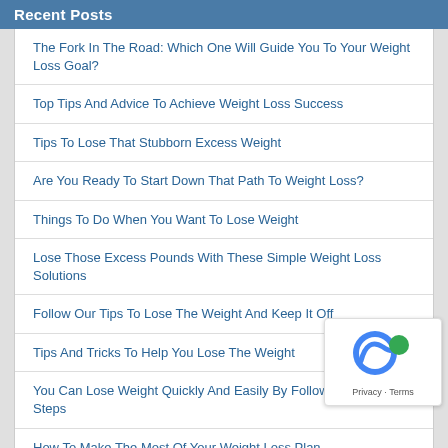Recent Posts
The Fork In The Road: Which One Will Guide You To Your Weight Loss Goal?
Top Tips And Advice To Achieve Weight Loss Success
Tips To Lose That Stubborn Excess Weight
Are You Ready To Start Down That Path To Weight Loss?
Things To Do When You Want To Lose Weight
Lose Those Excess Pounds With These Simple Weight Loss Solutions
Follow Our Tips To Lose The Weight And Keep It Off
Tips And Tricks To Help You Lose The Weight
You Can Lose Weight Quickly And Easily By Following These Steps
How To Make The Most Of Your Weight Loss Plan
Recommended:
[Figure (logo): Official HCG Diet Plan banner/logo in olive green with white bold italic text]